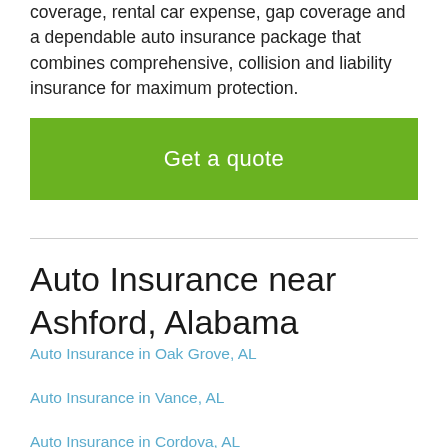coverage, rental car expense, gap coverage and a dependable auto insurance package that combines comprehensive, collision and liability insurance for maximum protection.
Get a quote
Auto Insurance near Ashford, Alabama
Auto Insurance in Oak Grove, AL
Auto Insurance in Vance, AL
Auto Insurance in Cordova, AL
Auto Insurance in Atmore, AL